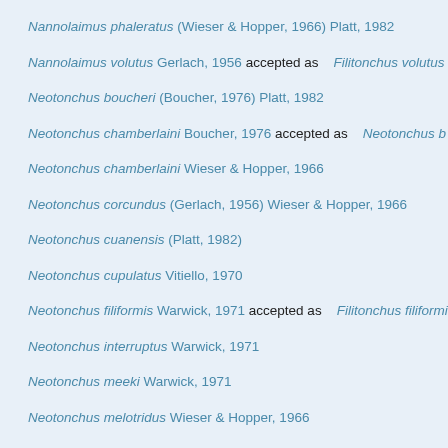Nannolaimus phaleratus (Wieser & Hopper, 1966) Platt, 1982
Nannolaimus volutus Gerlach, 1956 accepted as Filitonchus volutus
Neotonchus boucheri (Boucher, 1976) Platt, 1982
Neotonchus chamberlaini Boucher, 1976 accepted as Neotonchus b
Neotonchus chamberlaini Wieser & Hopper, 1966
Neotonchus corcundus (Gerlach, 1956) Wieser & Hopper, 1966
Neotonchus cuanensis (Platt, 1982)
Neotonchus cupulatus Vitiello, 1970
Neotonchus filiformis Warwick, 1971 accepted as Filitonchus filiformi
Neotonchus interruptus Warwick, 1971
Neotonchus meeki Warwick, 1971
Neotonchus melotridus Wieser & Hopper, 1966